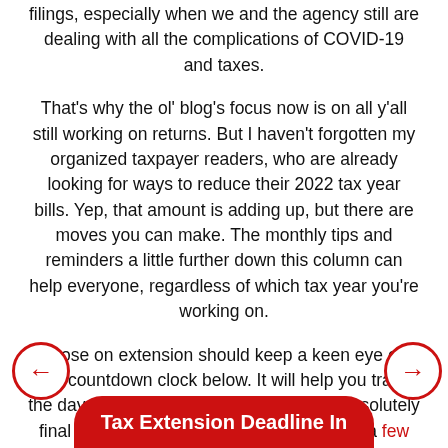filings, especially when we and the agency still are dealing with all the complications of COVID-19 and taxes.
That's why the ol' blog's focus now is on all y'all still working on returns. But I haven't forgotten my organized taxpayer readers, who are already looking for ways to reduce their 2022 tax year bills. Yep, that amount is adding up, but there are moves you can make. The monthly tips and reminders a little further down this column can help everyone, regardless of which tax year you're working on.
Those on extension should keep a keen eye on the countdown clock below. It will help you track the days tick, tick, ticking off toward that absolutely final fall filing due date of Oct. 17. Yep, it's a few days later this year.
Note: I'm in the Central Time Zone, so adjust accordingly for where you live.
[Figure (other): Left navigation arrow circle button in red]
[Figure (other): Right navigation arrow circle button in red]
Tax Extension Deadline In